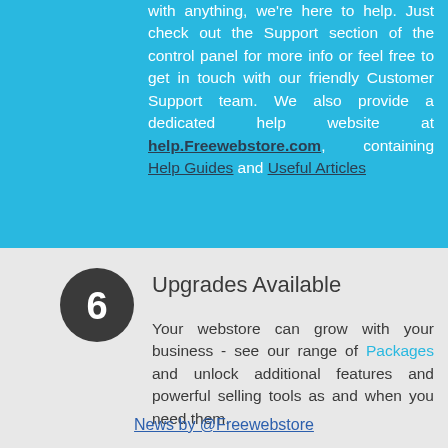with anything, we're here to help. Just check out the Support section of the control panel for more info or feel free to get in touch with our friendly Customer Support team. We also provide a dedicated help website at help.Freewebstore.com, containing Help Guides and Useful Articles
6 Upgrades Available
Your webstore can grow with your business - see our range of Packages and unlock additional features and powerful selling tools as and when you need them.
News by @Freewebstore